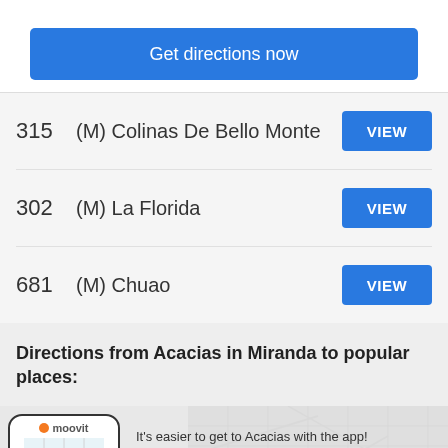Get directions now
315  (M) Colinas De Bello Monte  VIEW
302  (M) La Florida  VIEW
681  (M) Chuao  VIEW
Directions from Acacias in Miranda to popular places:
[Figure (screenshot): Moovit app banner with phone illustration showing map route, logo, tagline and Get the App button]
It's easier to get to Acacias with the app!
Get the App